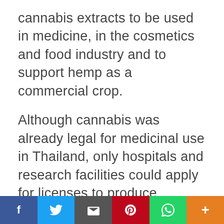cannabis extracts to be used in medicine, in the cosmetics and food industry and to support hemp as a commercial crop.
Although cannabis was already legal for medicinal use in Thailand, only hospitals and research facilities could apply for licenses to produce cannabis medicines. With the new law several companies are seeing a great opportunity. This is the case of the Ganja Group of Bankok, founded by Ishaan Shah. With the new law Shah wants to supply medical
f  t  [email]  P  [whatsapp]  +